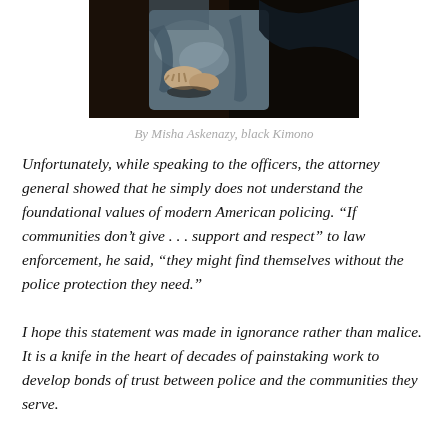[Figure (illustration): Cropped detail of a painting showing hands and dark fabric, appearing to be a classical oil painting with dark tones.]
By Misha Askenazy, black Kimono
Unfortunately, while speaking to the officers, the attorney general showed that he simply does not understand the foundational values of modern American policing. “If communities don’t give . . . support and respect” to law enforcement, he said, “they might find themselves without the police protection they need.”
I hope this statement was made in ignorance rather than malice. It is a knife in the heart of decades of painstaking work to develop bonds of trust between police and the communities they serve.